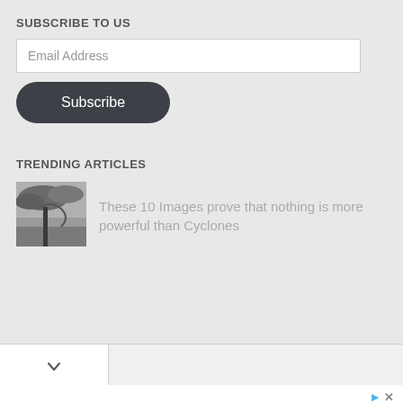SUBSCRIBE TO US
Email Address
Subscribe
TRENDING ARTICLES
[Figure (photo): Small thumbnail image of a cyclone/storm scene in grayscale]
These 10 Images prove that nothing is more powerful than Cyclones
[Figure (screenshot): Tab bar with a chevron/down arrow button on white tab]
Replacement Digging Parts
We Now Offer Lowe Trencher Attachments & Parts. Call Us Today Replacement Digging Parts
Open